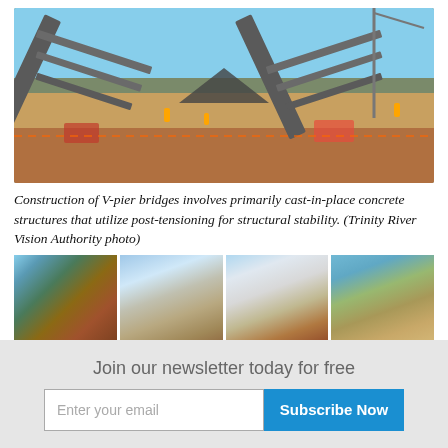[Figure (photo): Construction site showing V-pier bridge structure with large metal framework forming a V-shape, workers in yellow vests visible on scaffolding, cranes and construction equipment, red dirt ground, blue sky background]
Construction of V-pier bridges involves primarily cast-in-place concrete structures that utilize post-tensioning for structural stability. (Trinity River Vision Authority photo)
[Figure (photo): Four thumbnail photos of construction site: V-pier structure close-up, concrete beam/span, cement mixer truck, and excavation/earth work]
Construction ... in Fort Worth T...
Join our newsletter today for free
Enter your email | Subscribe Now